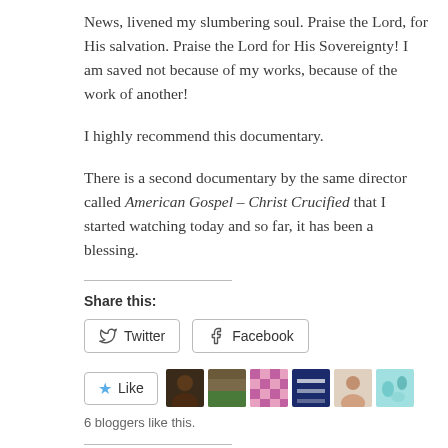News, livened my slumbering soul. Praise the Lord, for His salvation. Praise the Lord for His Sovereignty! I am saved not because of my works, because of the work of another!
I highly recommend this documentary.
There is a second documentary by the same director called American Gospel – Christ Crucified that I started watching today and so far, it has been a blessing.
Share this:
[Figure (screenshot): Twitter and Facebook share buttons with icons]
[Figure (screenshot): Like button with star icon and 6 blogger avatar thumbnails]
6 bloggers like this.